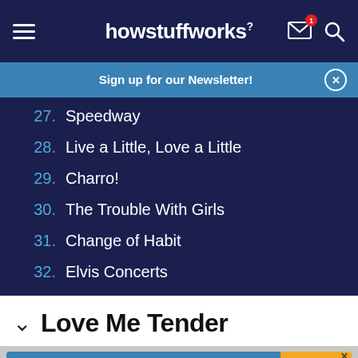howstuffworks
Sign up for our Newsletter!
27. Speedway
28. Live a Little, Love a Little
29. Charro!
30. The Trouble With Girls
31. Change of Habit
32. Elvis Concerts
Love Me Tender
Get the HowStuffWorks Newsletter!